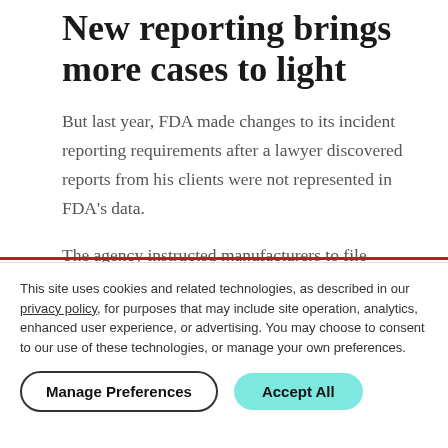New reporting brings more cases to light
But last year, FDA made changes to its incident reporting requirements after a lawyer discovered reports from his clients were not represented in FDA's data.
The agency instructed manufacturers to file reports individually, which correlated with a spike in the number of reports related to breast implants. FDA saw over 4,000
This site uses cookies and related technologies, as described in our privacy policy, for purposes that may include site operation, analytics, enhanced user experience, or advertising. You may choose to consent to our use of these technologies, or manage your own preferences.